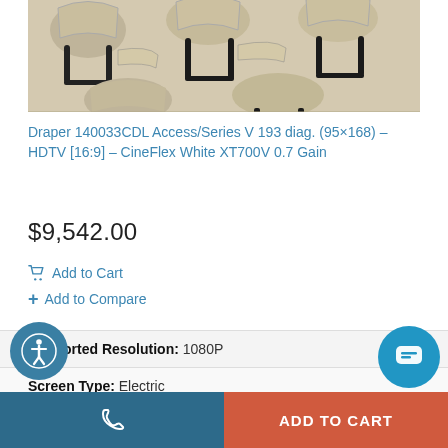[Figure (photo): Classroom chairs with tablet arms, beige/tan color, arranged in rows, viewed from above at an angle]
Draper 140033CDL Access/Series V 193 diag. (95×168) – HDTV [16:9] – CineFlex White XT700V 0.7 Gain
$9,542.00
Add to Cart
Add to Compare
| Supported Resolution: | 1080P |
| Screen Type: | Electric |
| Mount Type: | Ceiling |